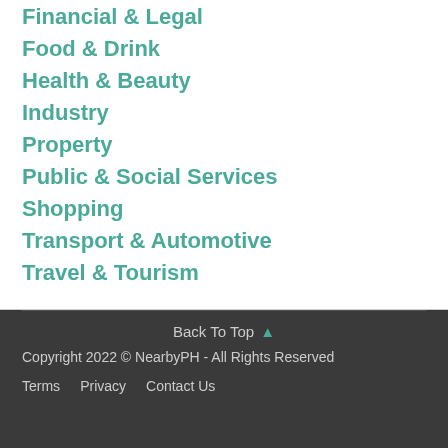Financial & Legal
Food & Drink
Health & Beauty
Industry
Property
Public & Social Services
Shopping
Transport & Automotive
Travel & Tourism
Back To Top
Copyright 2022 © NearbyPH - All Rights Reserved
Terms  Privacy  Contact Us